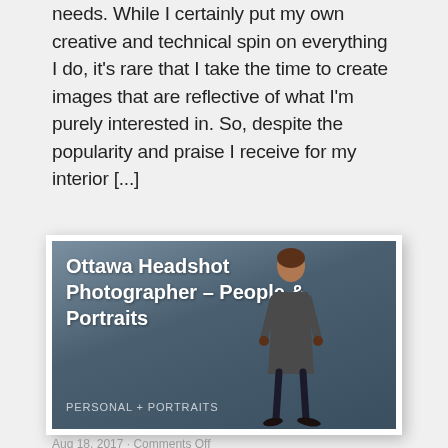needs. While I certainly put my own creative and technical spin on everything I do, it's rare that I take the time to create images that are reflective of what I'm purely interested in. So, despite the popularity and praise I receive for my interior [...]
[Figure (photo): A promotional card for 'Ottawa Headshot Photographer – People & Portraits' featuring a person standing against a grey-blue background, with the category label 'PERSONAL + PORTRAITS' at the bottom left.]
Aug 18, 2017 · Comments Off
Portraits and Headshots have long